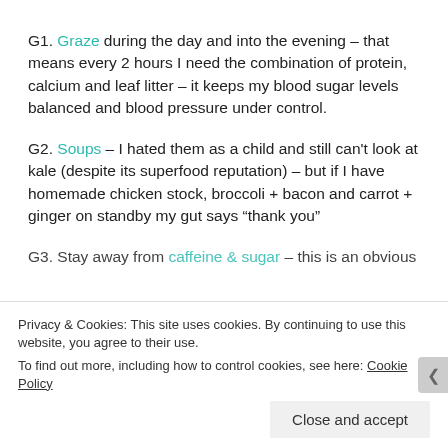G1. Graze during the day and into the evening – that means every 2 hours I need the combination of protein, calcium and leaf litter – it keeps my blood sugar levels balanced and blood pressure under control.
G2. Soups – I hated them as a child and still can't look at kale (despite its superfood reputation) – but if I have homemade chicken stock, broccoli + bacon and carrot + ginger on standby my gut says "thank you"
G3. Stay away from caffeine & sugar – this is an obvious
Privacy & Cookies: This site uses cookies. By continuing to use this website, you agree to their use. To find out more, including how to control cookies, see here: Cookie Policy
Close and accept